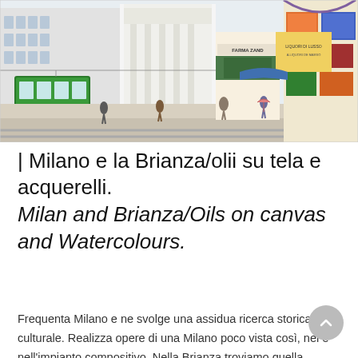[Figure (illustration): A detailed colorful illustration of a busy Milan street scene with a green tram on the left, historic storefronts on the right including a pharmacy (Farma/Zand) and liquor shop, pedestrians, and ornate architecture including an arcade or galleria at the far right.]
| Milano e la Brianza/olii su tela e acquerelli.
Milan and Brianza/Oils on canvas and Watercolours.
Frequenta Milano e ne svolge una assidua ricerca storica e culturale. Realizza opere di una Milano poco vista così, nel [...] e nell'impianto compositivo. Nella Brianza troviamo quella serenità